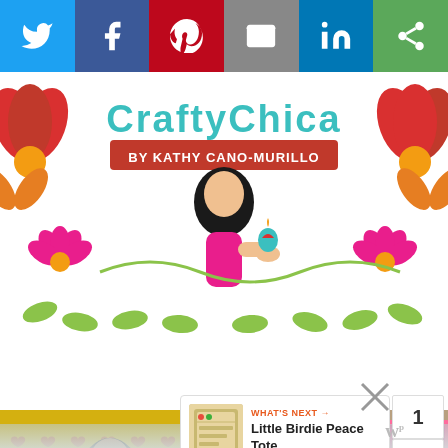[Figure (screenshot): Social media sharing bar with Twitter, Facebook, Pinterest, Email, LinkedIn, and another share icon buttons in a horizontal row]
[Figure (logo): CraftyChica by Kathy Cano-Murillo illustrated banner with colorful flowers, woman holding a sacred heart, and decorative folk art motifs]
[Figure (screenshot): Teal navigation bar with hamburger menu icon and heart/favorite button on the right]
[Figure (screenshot): What's Next card showing Little Birdie Peace Tote with thumbnail image]
[Figure (photo): Photo strip showing colorful folk art paintings including women figures and decorative artwork]